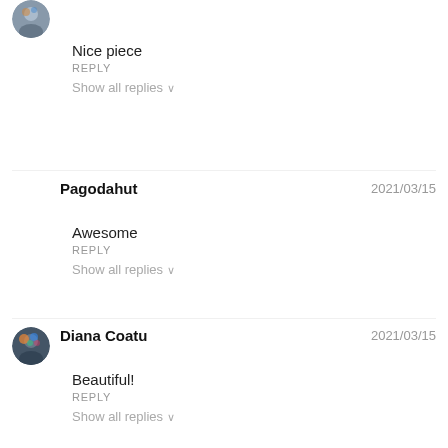[Figure (photo): Partial circular avatar image at top left, cropped]
Nice piece
REPLY
Show all replies ∨
Pagodahut
2021/03/15
Awesome
REPLY
Show all replies ∨
[Figure (photo): Circular avatar of Diana Coatu with colorful hair]
Diana Coatu
2021/03/15
Beautiful!
REPLY
Show all replies ∨